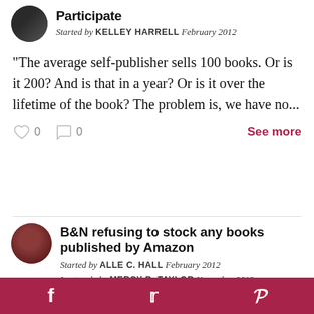Participate
Started by KELLEY HARRELL February 2012
"The average self-publisher sells 100 books. Or is it 200? And is that in a year? Or is it over the lifetime of the book? The problem is, we have no...
0  0  See more
B&N refusing to stock any books published by Amazon
Started by ALLE C. HALL February 2012
Last reply by MERCY B. TAYLOR November 2012
The New York Times is reporting the above. What do you think, ladies? Will
f  t  p